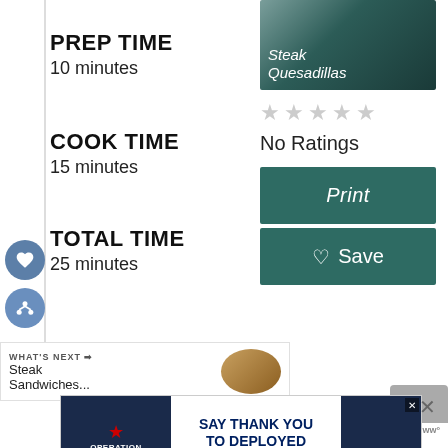[Figure (photo): Steak Quesadillas recipe photo with text overlay on dark teal background]
PREP TIME
10 minutes
No Ratings
COOK TIME
15 minutes
Print
TOTAL TIME
25 minutes
♡ Save
WHAT'S NEXT → Steak Sandwiches...
[Figure (screenshot): Operation Gratitude advertisement: SAY THANK YOU TO DEPLOYED TROOPS]